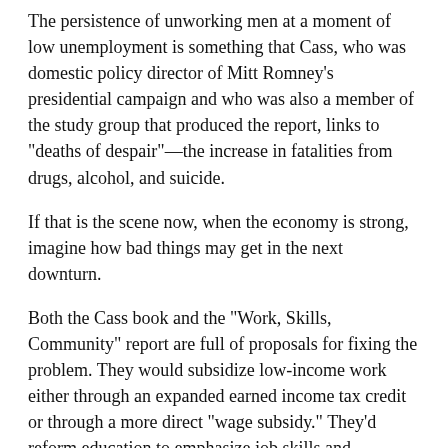The persistence of unworking men at a moment of low unemployment is something that Cass, who was domestic policy director of Mitt Romney's presidential campaign and who was also a member of the study group that produced the report, links to "deaths of despair"—the increase in fatalities from drugs, alcohol, and suicide.
If that is the scene now, when the economy is strong, imagine how bad things may get in the next downturn.
Both the Cass book and the "Work, Skills, Community" report are full of proposals for fixing the problem. They would subsidize low-income work either through an expanded earned income tax credit or through a more direct "wage subsidy." They'd reform education to emphasize job skills and vocational training. They'd ease environmental reviews that stall job-creating building projects. They'd modernize some safety net programs to